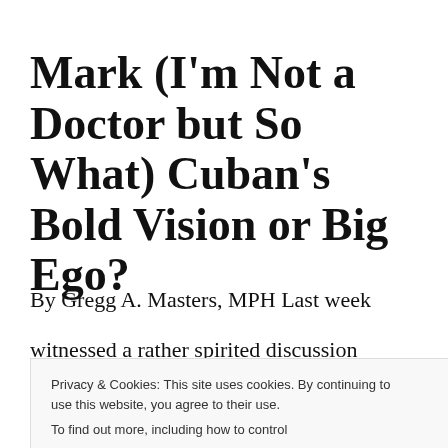Mark (I'm Not a Doctor but So What) Cuban's Bold Vision or Big Ego?
By Gregg A. Masters, MPH Last week
witnessed a rather spirited discussion
Privacy & Cookies: This site uses cookies. By continuing to use this website, you agree to their use. To find out more, including how to control cookies, see here: Cookie Policy
anointed judge of entrepreneurial insight on